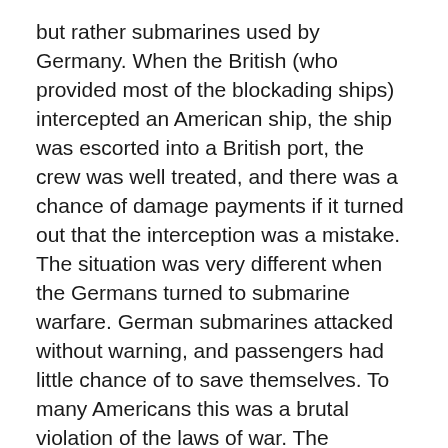but rather submarines used by Germany. When the British (who provided most of the blockading ships) intercepted an American ship, the ship was escorted into a British port, the crew was well treated, and there was a chance of damage payments if it turned out that the interception was a mistake. The situation was very different when the Germans turned to submarine warfare. German submarines attacked without warning, and passengers had little chance of to save themselves. To many Americans this was a brutal violation of the laws of war. The Germans felt they had to use submarines because their surface fleet was too small to defeat the British navy let alone establish an effective counter-blockade.
The first submarine attack to inflame American opinion was the sinking of the Lusitania in May 1915. The Lusitania left New York with a cargo of passengers and freight, including war goods. When